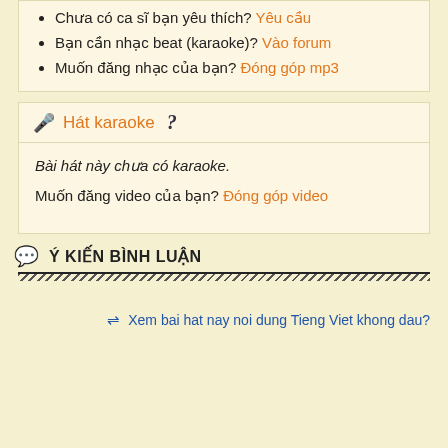Chưa có ca sĩ bạn yêu thích? Yêu cầu
Bạn cần nhạc beat (karaoke)? Vào forum
Muốn đăng nhạc của bạn? Đóng góp mp3
Hát karaoke
Bài hát này chưa có karaoke.
Muốn đăng video của bạn? Đóng góp video
Ý KIẾN BÌNH LUẬN
⇌ Xem bai hat nay noi dung Tieng Viet khong dau?